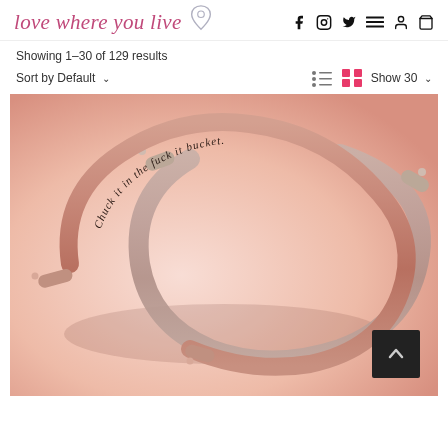[Figure (logo): love where you live logo with heart icon and location pin]
[Figure (infographic): Navigation icons: Facebook, Instagram, Twitter, hamburger menu, user account, shopping cart]
Showing 1–30 of 129 results
Sort by Default  ∨
[Figure (infographic): List view and grid view toggle icons, Show 30 dropdown]
[Figure (photo): Two rose gold cuff bracelets on a pink background. The inner bracelet is engraved with the text 'Chuck it in the fuck it bucket.']